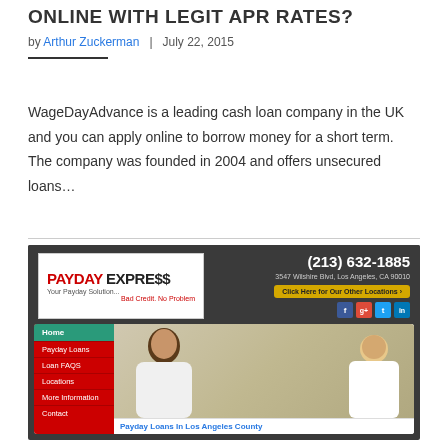ONLINE WITH LEGIT APR RATES?
by Arthur Zuckerman  |  July 22, 2015
WageDayAdvance is a leading cash loan company in the UK and you can apply online to borrow money for a short term. The company was founded in 2004 and offers unsecured loans...
[Figure (screenshot): Screenshot of Payday Express website showing logo, phone number (213) 632-1885, address 3547 Wilshire Blvd Los Angeles CA 90010, navigation menu with Home, Payday Loans, Loan FAQS, Locations, More Information, Contact, and a photo of two people with caption Payday Loans In Los Angeles County]